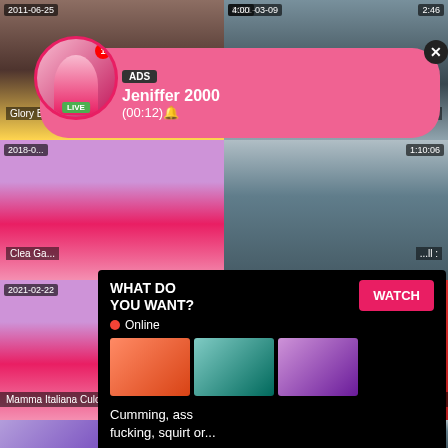[Figure (screenshot): Video thumbnail grid showing adult content website with overlaid advertisements]
2011-06-25
4:00
2021-03-09
2:46
Glory Boot...
...ver
ADS
Jeniffer 2000
(00:12)🔔
LIVE
2018-0...
1:10:06
Clea Ga...
...ll :
WHAT DO YOU WANT?
WATCH
Online
Cumming, ass fucking, squirt or...
• ADS
2021-02-22
18:46
Mamma Italiana Culona Inculata Forte A
2011-03-17
7:11
Kendra Kaine mouth sprayed
PremiumHot.com